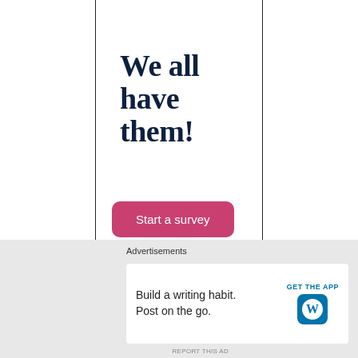We all have them!
Start a survey
Advertisements
Build a writing habit. Post on the go.
GET THE APP